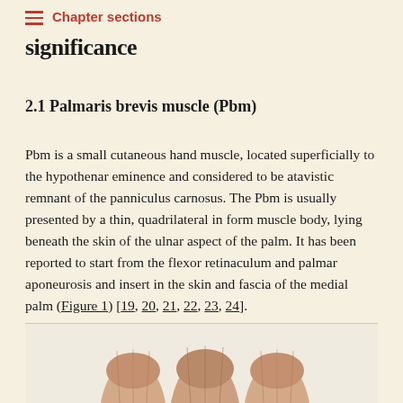Chapter sections
significance
2.1 Palmaris brevis muscle (Pbm)
Pbm is a small cutaneous hand muscle, located superficially to the hypothenar eminence and considered to be atavistic remnant of the panniculus carnosus. The Pbm is usually presented by a thin, quadrilateral in form muscle body, lying beneath the skin of the ulnar aspect of the palm. It has been reported to start from the flexor retinaculum and palmar aponeurosis and insert in the skin and fascia of the medial palm (Figure 1) [19, 20, 21, 22, 23, 24].
[Figure (photo): Bottom portion of an anatomical illustration showing finger/hand anatomy, three finger-like structures visible from below]